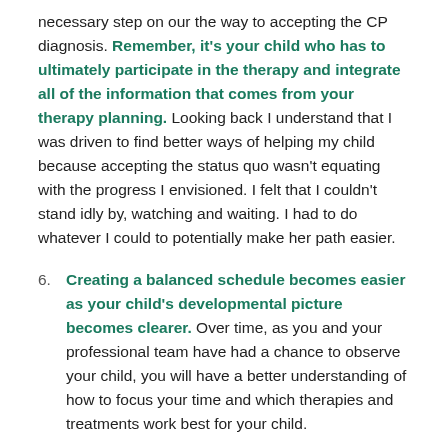necessary step on our the way to accepting the CP diagnosis. Remember, it's your child who has to ultimately participate in the therapy and integrate all of the information that comes from your therapy planning. Looking back I understand that I was driven to find better ways of helping my child because accepting the status quo wasn't equating with the progress I envisioned. I felt that I couldn't stand idly by, watching and waiting. I had to do whatever I could to potentially make her path easier.
6. Creating a balanced schedule becomes easier as your child's developmental picture becomes clearer. Over time, as you and your professional team have had a chance to observe your child, you will have a better understanding of how to focus your time and which therapies and treatments work best for your child.